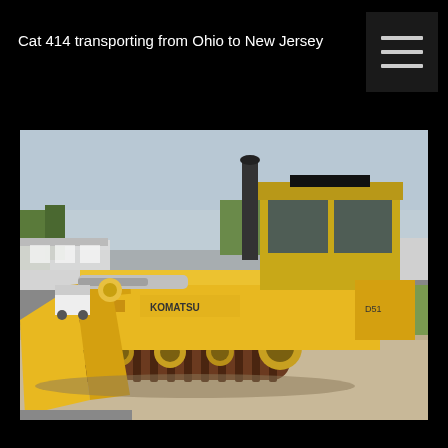Cat 414 transporting from Ohio to New Jersey
[Figure (photo): Yellow Komatsu bulldozer/crawler tractor with large front blade, parked on a gravel/dirt surface. The machine has rubber track undercarriage, enclosed operator cab, and exhaust stack. Background shows industrial buildings, semi-truck trailers, trees, and a grassy field under an overcast sky.]